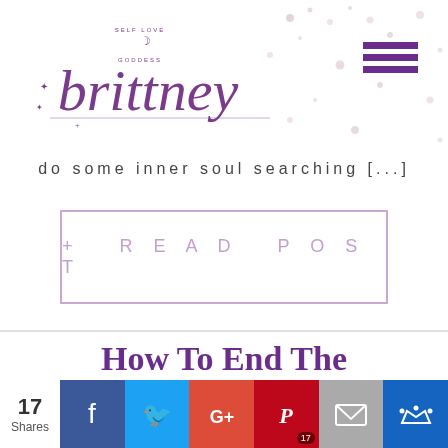[Figure (logo): Brittney self love cursive script logo with moon and stars decorative elements]
do some inner soul searching [...]
+ READ POST
How To End The
We use cookies to ensure that we give you the best experience on our website. If you continue to use this site we will assume that you are happy with it.
17 Shares
[Figure (infographic): Social share bar with Facebook, Twitter, Google+, Pinterest (17), Email, and bookmark buttons]